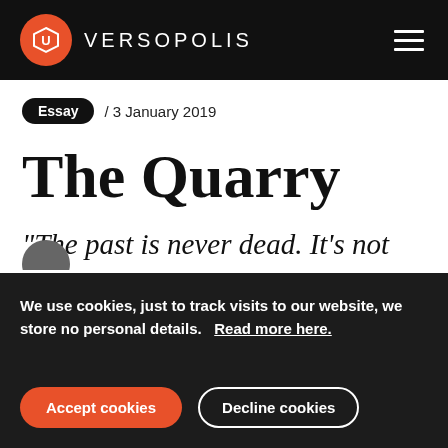VERSOPOLIS
Essay / 3 January 2019
The Quarry
"The past is never dead. It's not even the past."
We use cookies, just to track visits to our website, we store no personal details.   Read more here.
Accept cookies   Decline cookies